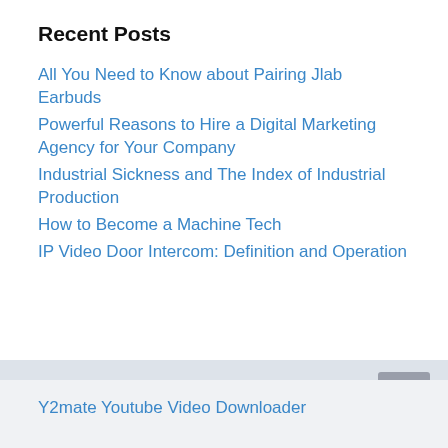Recent Posts
All You Need to Know about Pairing Jlab Earbuds
Powerful Reasons to Hire a Digital Marketing Agency for Your Company
Industrial Sickness and The Index of Industrial Production
How to Become a Machine Tech
IP Video Door Intercom: Definition and Operation
Y2mate Youtube Video Downloader